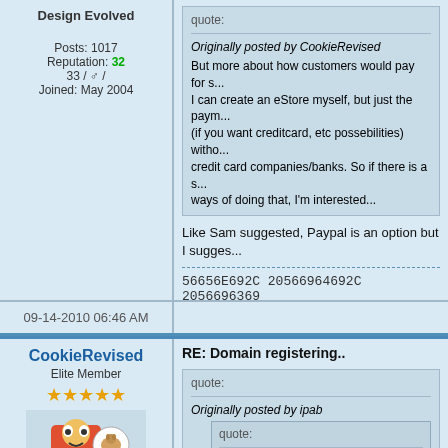Design Evolved
Posts: 1017
Reputation: 32
33 / male /
Joined: May 2004
Originally posted by CookieRevised
But more about how customers would pay for s...
I can create an eStore myself, but just the paym...
(if you want creditcard, etc possebilities) without...
credit card companies/banks. So if there is a s...
ways of doing that, I'm interested...
Like Sam suggested, Paypal is an option but I sugges...
56656E692C 20566964692C 2056696369
09-14-2010 06:46 AM
CookieRevised
Elite Member
Posts: 15519
Reputation: 173
- / male / Belgium
Joined: Jul 2003
Status: Away
RE: Domain registering..
quote:
Originally posted by ipab
quote:
Originally posted by CookieRevised
But more about how customers would p...
I can create an eStore myself, but just th...
do it yourself (if you want creditcard, etc...
big money per year to the credit card co...
service out there which provides cheap...